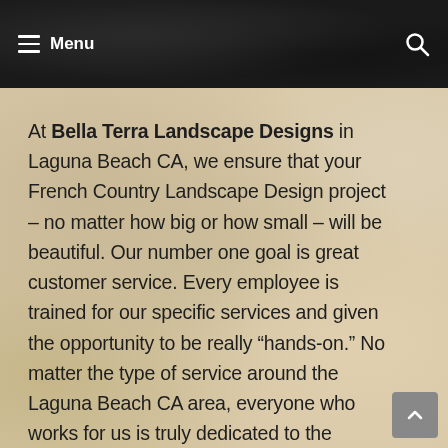Menu
At Bella Terra Landscape Designs in Laguna Beach CA, we ensure that your French Country Landscape Design project – no matter how big or how small – will be beautiful. Our number one goal is great customer service. Every employee is trained for our specific services and given the opportunity to be really “hands-on.” No matter the type of service around the Laguna Beach CA area, everyone who works for us is truly dedicated to the highest level of customer service as well as providing their best on any French Country Landscape Design project available.